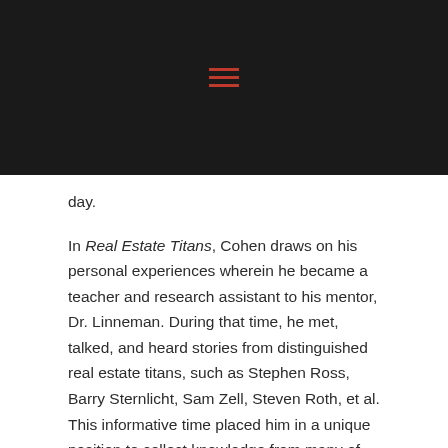≡
day.
In Real Estate Titans, Cohen draws on his personal experiences wherein he became a teacher and research assistant to his mentor, Dr. Linneman. During that time, he met, talked, and heard stories from distinguished real estate titans, such as Stephen Ross, Barry Sternlicht, Sam Zell, Steven Roth, et al. This informative time placed him in a unique position to collect knowledge from many of these titans. Surrounded by so many titans, Erez's curiosity grew and resulted in the key lessons you'll discover inside.